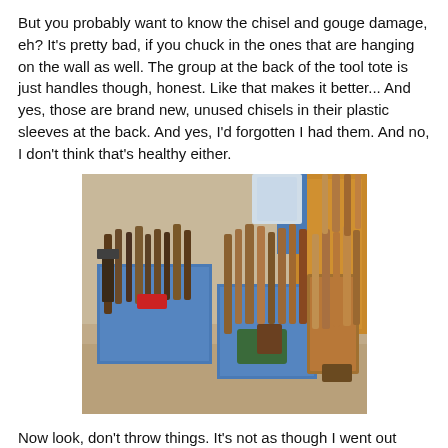But you probably want to know the chisel and gouge damage, eh? It's pretty bad, if you chuck in the ones that are hanging on the wall as well. The group at the back of the tool tote is just handles though, honest. Like that makes it better... And yes, those are brand new, unused chisels in their plastic sleeves at the back. And yes, I'd forgotten I had them. And no, I don't think that's healthy either.
[Figure (photo): Overhead photo of multiple blue plastic bins and a wooden tool tote filled with chisels, gouges, and other woodworking tools with wooden handles, sitting on a sawdust-covered floor near a wooden cabinet.]
Now look, don't throw things. It's not as though I went out